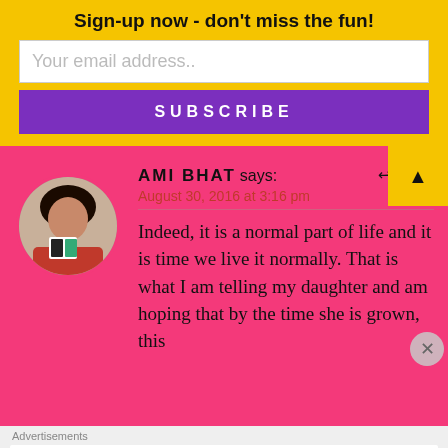Sign-up now - don't miss the fun!
Your email address..
SUBSCRIBE
AMI BHAT says:
August 30, 2016 at 3:16 pm
Indeed, it is a normal part of life and it is time we live it normally. That is what I am telling my daughter and am hoping that by the time she is grown, this
Advertisements
The go-to app for podcast lovers.
Pocket Casts